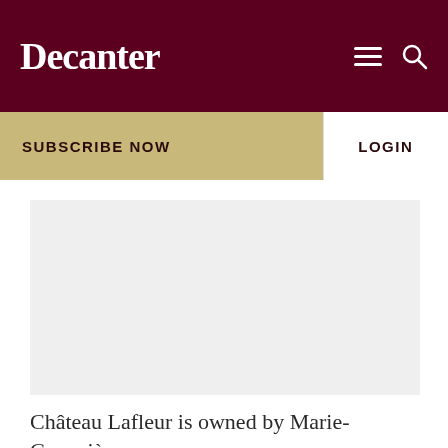Decanter
SUBSCRIBE NOW
LOGIN
[Figure (photo): Light grey placeholder image area for a photo related to Château Lafleur]
Château Lafleur is owned by Marie-Geneviève